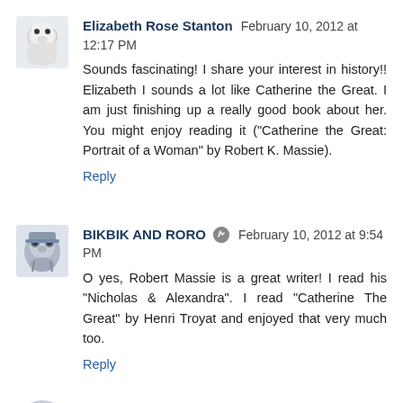Elizabeth Rose Stanton  February 10, 2012 at 12:17 PM
Sounds fascinating! I share your interest in history!! Elizabeth I sounds a lot like Catherine the Great. I am just finishing up a really good book about her. You might enjoy reading it ("Catherine the Great: Portrait of a Woman" by Robert K. Massie).
Reply
BIKBIK AND RORO  February 10, 2012 at 9:54 PM
O yes, Robert Massie is a great writer! I read his "Nicholas & Alexandra". I read "Catherine The Great" by Henri Troyat and enjoyed that very much too.
Reply
Enter Comment